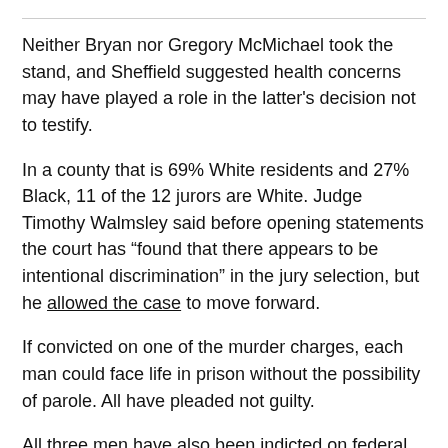Neither Bryan nor Gregory McMichael took the stand, and Sheffield suggested health concerns may have played a role in the latter's decision not to testify.
In a county that is 69% White residents and 27% Black, 11 of the 12 jurors are White. Judge Timothy Walmsley said before opening statements the court has “found that there appears to be intentional discrimination” in the jury selection, but he allowed the case to move forward.
If convicted on one of the murder charges, each man could face life in prison without the possibility of parole. All have pleaded not guilty.
All three men have also been indicted on federal